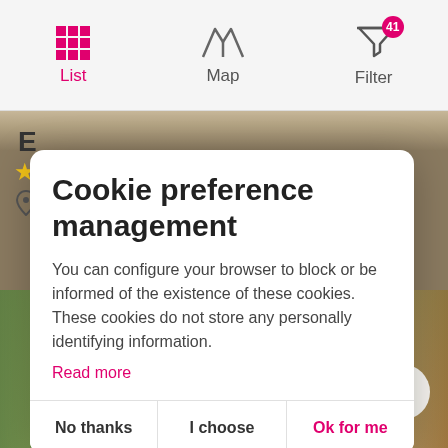[Figure (screenshot): Mobile app navigation bar with List (active, pink), Map, and Filter (with badge 41) icons]
[Figure (screenshot): Cookie preference management modal dialog with title, body text, Read more link, and three buttons: No thanks, I choose, Ok for me]
[Figure (photo): Background photo of a countryside hotel/gite with white building, garden, trees, and terracotta roof tiles]